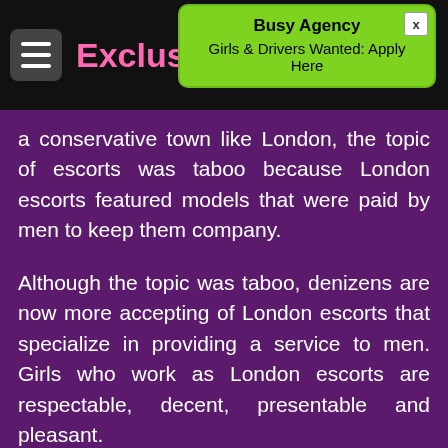Exclusi...
[Figure (infographic): Popup advertisement with green background reading 'Busy Agency — Girls & Drivers Wanted: Apply Here' with an X close button]
a conservative town like London, the topic of escorts was taboo because London escorts featured models that were paid by men to keep them company.
Although the topic was taboo, denizens are now more accepting of London escorts that specialize in providing a service to men. Girls who work as London escorts are respectable, decent, presentable and pleasant.
People have come to accept their place in society. Agencies have made a name for themselves in the escort business.